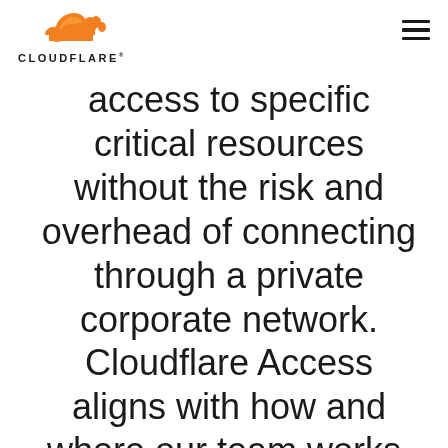CLOUDFLARE
access to specific critical resources without the risk and overhead of connecting through a private corporate network. Cloudflare Access aligns with how and where our team works, while helping us embrace a Zero Trust security model, where every request to every app is evaluated for user identity, and no VPN is required."